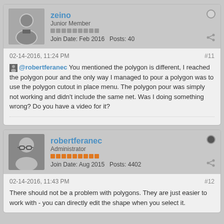zeino
Junior Member
Join Date: Feb 2016   Posts: 40
02-14-2016, 11:24 PM
#11
@robertferanec You mentioned the polygon is different, I reached the polygon pour and the only way I managed to pour a polygon was to use the polygon cutout in place menu. The polygon pour was simply not working and didn't include the same net. Was I doing something wrong? Do you have a video for it?
robertferanec
Administrator
Join Date: Aug 2015   Posts: 4402
02-14-2016, 11:43 PM
#12
There should not be a problem with polygons. They are just easier to work with - you can directly edit the shape when you select it.